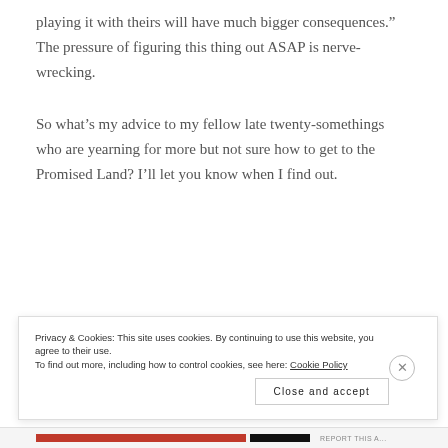playing it with theirs will have much bigger consequences.” The pressure of figuring this thing out ASAP is nerve-wrecking.
So what’s my advice to my fellow late twenty-somethings who are yearning for more but not sure how to get to the Promised Land? I’ll let you know when I find out.
Privacy & Cookies: This site uses cookies. By continuing to use this website, you agree to their use.
To find out more, including how to control cookies, see here: Cookie Policy